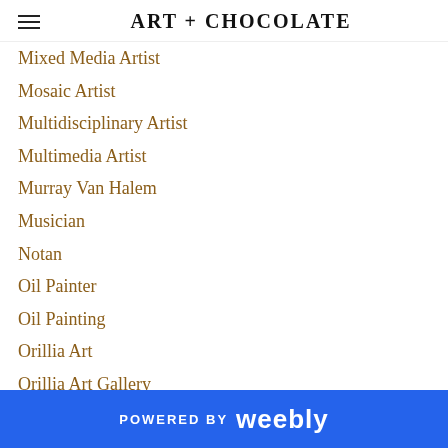Art + Chocolate
Mixed Media Artist
Mosaic Artist
Multidisciplinary Artist
Multimedia Artist
Murray Van Halem
Musician
Notan
Oil Painter
Oil Painting
Orillia Art
Orillia Art Gallery
Orillia Artist
Orillia Artists
Orillia Arts Community
Orillia Arts District
Orillia Arts Scene
POWERED BY weebly